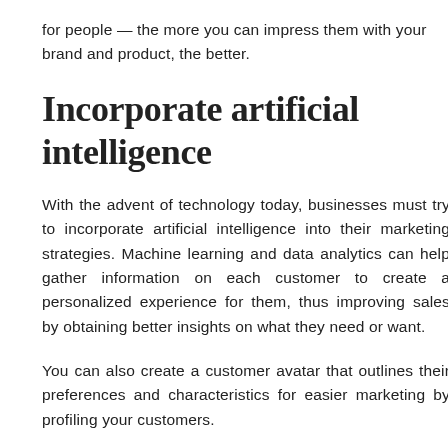for people — the more you can impress them with your brand and product, the better.
Incorporate artificial intelligence
With the advent of technology today, businesses must try to incorporate artificial intelligence into their marketing strategies. Machine learning and data analytics can help gather information on each customer to create a personalized experience for them, thus improving sales by obtaining better insights on what they need or want.
You can also create a customer avatar that outlines their preferences and characteristics for easier marketing by profiling your customers.